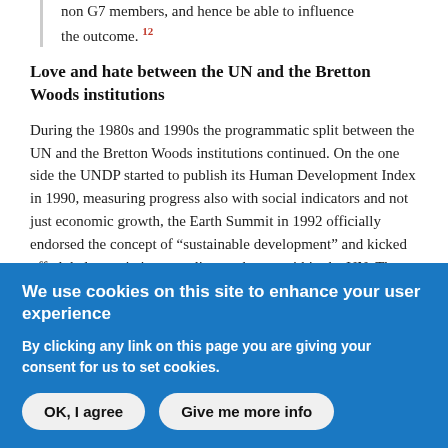non G7 members, and hence be able to influence the outcome. 12
Love and hate between the UN and the Bretton Woods institutions
During the 1980s and 1990s the programmatic split between the UN and the Bretton Woods institutions continued. On the one side the UNDP started to publish its Human Development Index in 1990, measuring progress also with social indicators and not just economic growth, the Earth Summit in 1992 officially endorsed the concept of “sustainable development” and kicked off global negotiations on climate change within the UN. The
We use cookies on this site to enhance your user experience
By clicking any link on this page you are giving your consent for us to set cookies.
OK, I agree
Give me more info